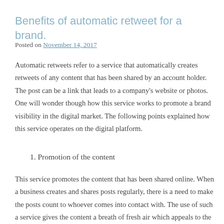Benefits of automatic retweet for a brand.
Posted on November 14, 2017
Automatic retweets refer to a service that automatically creates retweets of any content that has been shared by an account holder. The post can be a link that leads to a company's website or photos. One will wonder though how this service works to promote a brand visibility in the digital market. The following points explained how this service operates on the digital platform.
1. Promotion of the content
This service promotes the content that has been shared online. When a business creates and shares posts regularly, there is a need to make the posts count to whoever comes into contact with. The use of such a service gives the content a breath of fresh air which appeals to the